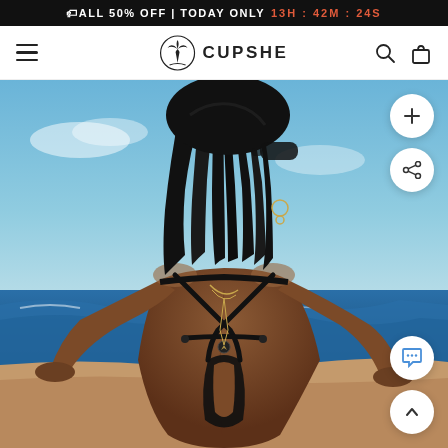ALL 50% OFF | TODAY ONLY 13H : 42M : 24S
[Figure (logo): Cupshe brand logo with palm tree icon and text CUPSHE, navigation bar with hamburger menu, search icon, and bag icon]
[Figure (photo): Woman in black bikini top with criss-cross back straps standing on a beach, viewed from behind, long black hair, wearing sunglasses and gold jewelry, blue sky and ocean in background. Floating action buttons on right side: plus button, share button, chat bubble button, and up arrow button.]